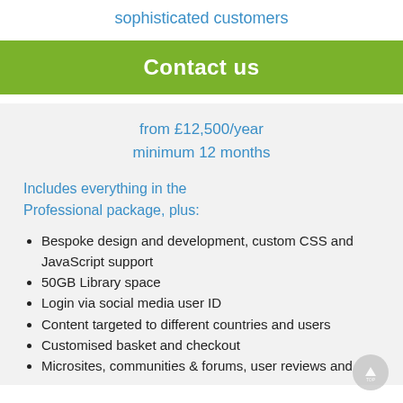sophisticated customers
Contact us
from £12,500/year
minimum 12 months
Includes everything in the Professional package, plus:
Bespoke design and development, custom CSS and JavaScript support
50GB Library space
Login via social media user ID
Content targeted to different countries and users
Customised basket and checkout
Microsites, communities & forums, user reviews and